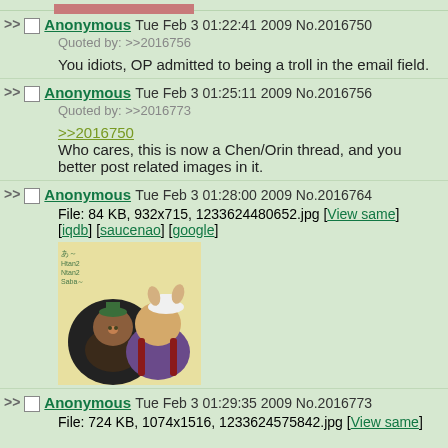[top image cropped]
Anonymous Tue Feb 3 01:22:41 2009 No.2016750
Quoted by: >>2016756
You idiots, OP admitted to being a troll in the email field.
Anonymous Tue Feb 3 01:25:11 2009 No.2016756
Quoted by: >>2016773
>>2016750
Who cares, this is now a Chen/Orin thread, and you better post related images in it.
Anonymous Tue Feb 3 01:28:00 2009 No.2016764
File: 84 KB, 932x715, 1233624480652.jpg [View same] [iqdb] [saucenao] [google]
[Figure (illustration): Anime-style illustration of two characters: a blonde character with a white hat and animal ears, and a red-haired character with braids, appearing cheerful/cute style.]
Anonymous Tue Feb 3 01:29:35 2009 No.2016773
File: 724 KB, 1074x1516, 1233624575842.jpg [View same]